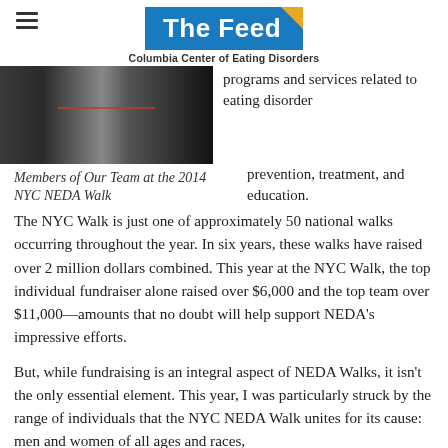The Feed — Columbia Center of Eating Disorders
[Figure (photo): A black and white photograph of members at the 2014 NYC NEDA Walk, showing participants at an event]
Members of Our Team at the 2014 NYC NEDA Walk
programs and services related to eating disorder prevention, treatment, and education. The NYC Walk is just one of approximately 50 national walks occurring throughout the year. In six years, these walks have raised over 2 million dollars combined. This year at the NYC Walk, the top individual fundraiser alone raised over $6,000 and the top team over $11,000—amounts that no doubt will help support NEDA's impressive efforts.
But, while fundraising is an integral aspect of NEDA Walks, it isn't the only essential element. This year, I was particularly struck by the range of individuals that the NYC NEDA Walk unites for its cause: men and women of all ages and races,